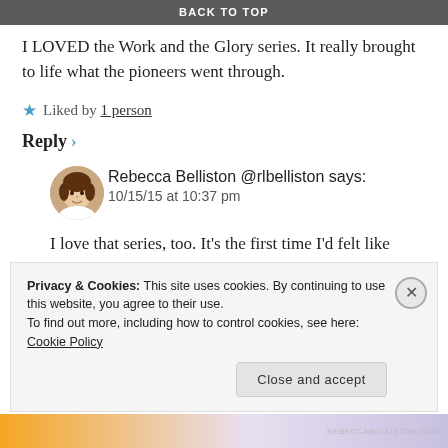BACK TO TOP
I LOVED the Work and the Glory series. It really brought to life what the pioneers went through.
★ Liked by 1 person
Reply ›
Rebecca Belliston @rlbelliston says:
10/15/15 at 10:37 pm
I love that series, too. It's the first time I'd felt like Joseph Smith could have been a friend to me and not
Privacy & Cookies: This site uses cookies. By continuing to use this website, you agree to their use.
To find out more, including how to control cookies, see here: Cookie Policy
Close and accept